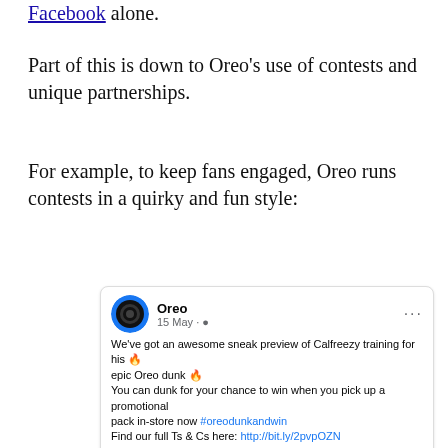Facebook alone.
Part of this is down to Oreo's use of contests and unique partnerships.
For example, to keep fans engaged, Oreo runs contests in a quirky and fun style:
[Figure (screenshot): Facebook post by Oreo dated 15 May. Post reads: 'We've got an awesome sneak preview of Calfreezy training for his 🔥 epic Oreo dunk 🔥 You can dunk for your chance to win when you pick up a promotional pack in-store now #oreodunkandwin Find our full Ts & Cs here: http://bit.ly/2pvpOZN'. Below the text is an image of a young man in a dark t-shirt with a large Oreo branded milk splash graphic overlay.]